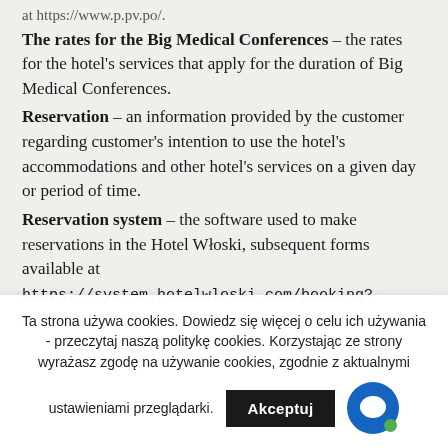at https://www.p.pv.po/.
The rates for the Big Medical Conferences – the rates for the hotel's services that apply for the duration of Big Medical Conferences.
Reservation – an information provided by the customer regarding customer's intention to use the hotel's accommodations and other hotel's services on a given day or period of time.
Reservation system – the software used to make reservations in the Hotel Włoski, subsequent forms available at https://system.hotelwloski.com/booking?execution_e1s1 which allow to make a reservation by
Ta strona używa cookies. Dowiedz się więcej o celu ich używania - przeczytaj naszą politykę cookies. Korzystając ze strony wyrażasz zgodę na używanie cookies, zgodnie z aktualnymi ustawieniami przeglądarki.
Akceptuj